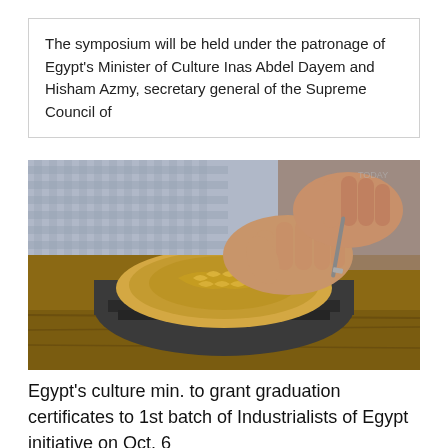The symposium will be held under the patronage of Egypt's Minister of Culture Inas Abdel Dayem and Hisham Azmy, secretary general of the Supreme Council of
[Figure (photo): Close-up photo of a craftsman's hands engraving or carving decorative patterns onto a brass/gold metallic plate held in a wooden fixture on a workbench.]
Egypt's culture min. to grant graduation certificates to 1st batch of Industrialists of Egypt initiative on Oct. 6